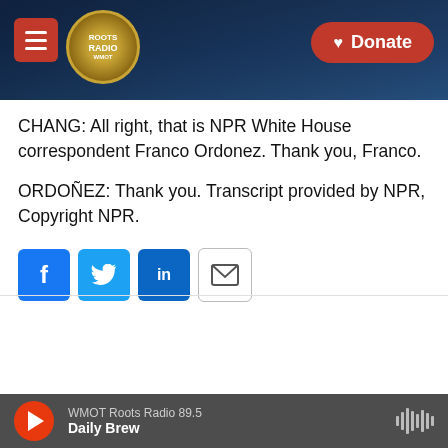WMOT Roots Radio header with hamburger menu, Roots Radio logo, and Donate button
CHANG: All right, that is NPR White House correspondent Franco Ordonez. Thank you, Franco.
ORDOÑEZ: Thank you. Transcript provided by NPR, Copyright NPR.
[Figure (infographic): Social share buttons: Facebook (f), Twitter bird, LinkedIn (in), and email envelope icon]
[Figure (photo): Headshot photo of Franco Ordoñez, a man in a dark suit with arms crossed, light blue background]
Franco Ordoñez
Franco Ordoñez is a White House Correspondent for NPR's Washington Bureau. Before coming to NPR in 2019
WMOT Roots Radio 89.5 — Daily Brew — audio player bar with play button and waveform icon